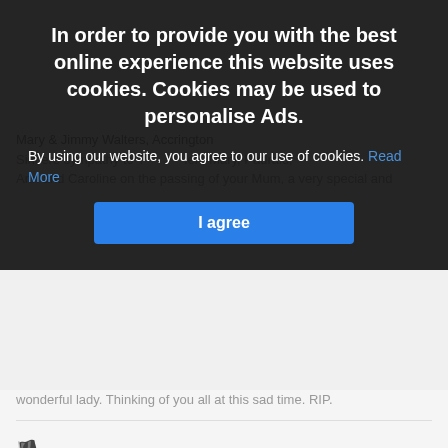In order to provide you with the best online experience this website uses cookies. Cookies may be used to personalise Ads.
By using our website, you agree to our use of cookies. Read More
I agree
wonderful lady. Thinking of you all at this sad time. RIP.
[Figure (other): Flag/report icon]
Patrick & Melissa Walsh
5 months 25 days
Deepest sympathies to the entire Walsh family on the passing of your Mother, a very special lady. May her gentle soul Rest In Peace.